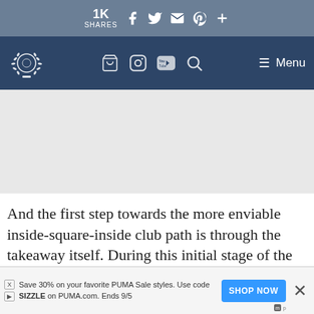1K SHARES  [social share icons: Facebook, Twitter, Email, Pinterest, More]
[Navigation bar with golf logo, cart, Instagram, YouTube, Search icons, and Menu]
[Figure (screenshot): Grey advertisement placeholder area]
And the first step towards the more enviable inside-square-inside club path is through the takeaway itself. During this initial stage of the swing, simply make sure that when the shaft of the club is parallel to the ground that the butt end... [continues] ...left
Save 30% on your favorite PUMA Sale styles. Use code SIZZLE on PUMA.com. Ends 9/5   SHOP NOW   ×